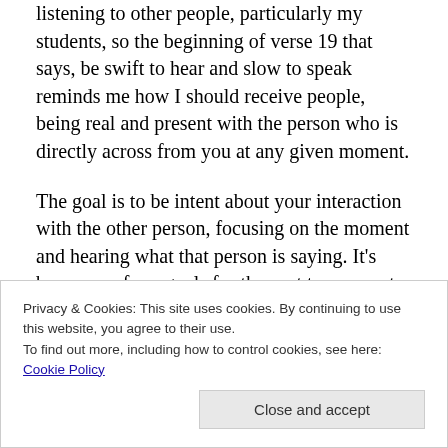listening to other people, particularly my students, so the beginning of verse 19 that says, be swift to hear and slow to speak reminds me how I should receive people, being real and present with the person who is directly across from you at any given moment.
The goal is to be intent about your interaction with the other person, focusing on the moment and hearing what that person is saying. It's been one of my goals for the past two years to speak less and listen more deeply and intently. Sometimes I do it, sometimes I don't, and when I don't, I find that I later regret that I wasn't more intent on
Privacy & Cookies: This site uses cookies. By continuing to use this website, you agree to their use. To find out more, including how to control cookies, see here: Cookie Policy
Close and accept